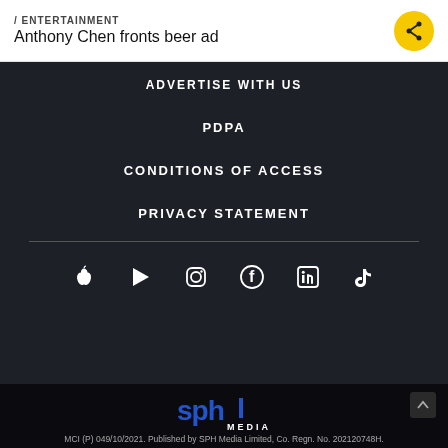/ ENTERTAINMENT
Anthony Chen fronts beer ad
ADVERTISE WITH US
PDPA
CONDITIONS OF ACCESS
PRIVACY STATEMENT
[Figure (infographic): Social media icons row: Apple, Google Play, Instagram, Facebook, LinkedIn, TikTok]
[Figure (logo): SPH Media logo in blue and white on black background]
MCI (P) 049/10/2021. Published by SPH Media Limited, Co. Regn. No. 202120748H.